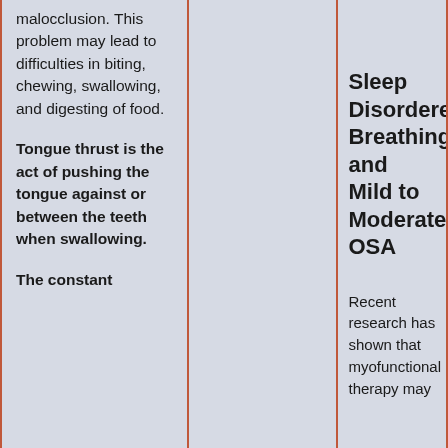malocclusion. This problem may lead to difficulties in biting, chewing, swallowing, and digesting of food.
Tongue thrust is the act of pushing the tongue against or between the teeth when swallowing.
The constant
Sleep Disordered Breathing and Mild to Moderate OSA
Recent research has shown that myofunctional therapy may